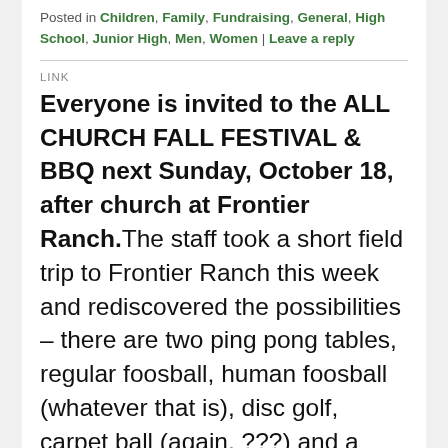Posted in Children, Family, Fundraising, General, High School, Junior High, Men, Women | Leave a reply
LINK
Everyone is invited to the ALL CHURCH FALL FESTIVAL & BBQ next Sunday, October 18, after church at Frontier Ranch. The staff took a short field trip to Frontier Ranch this week and rediscovered the possibilities – there are two ping pong tables, regular foosball, human foosball (whatever that is), disc golf, carpet ball (again, ???) and a huge lawn for bocci ball, 3 legged races, etc. There will be bingo and a cupcake walk for all ages and, of course, music and